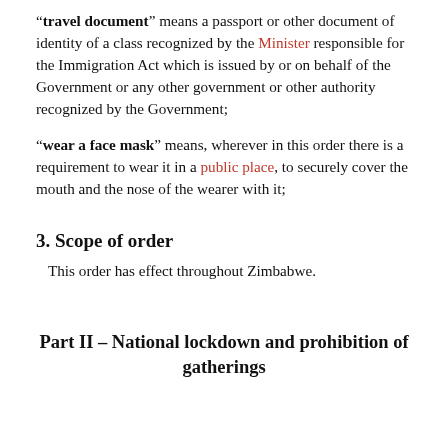"travel document" means a passport or other document of identity of a class recognized by the Minister responsible for the Immigration Act which is issued by or on behalf of the Government or any other government or other authority recognized by the Government;
"wear a face mask" means, wherever in this order there is a requirement to wear it in a public place, to securely cover the mouth and the nose of the wearer with it;
3. Scope of order
This order has effect throughout Zimbabwe.
Part II – National lockdown and prohibition of gatherings